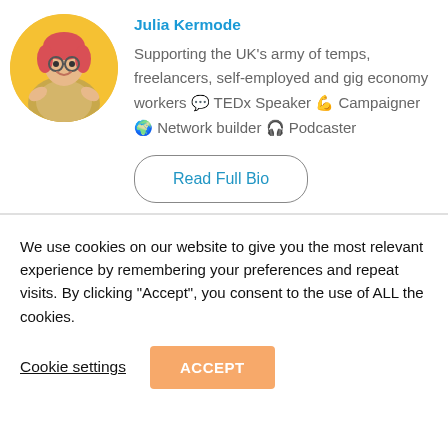[Figure (photo): Circular portrait photo of a woman with red/pink hair and glasses, wearing a patterned blouse, sitting on a yellow chair, smiling.]
Julia Kermode
Supporting the UK’s army of temps, freelancers, self-employed and gig economy workers 💬 TEDx Speaker 💪 Campaigner 🌍 Network builder 🎚 Podcaster
Read Full Bio
We use cookies on our website to give you the most relevant experience by remembering your preferences and repeat visits. By clicking “Accept”, you consent to the use of ALL the cookies.
Cookie settings
ACCEPT